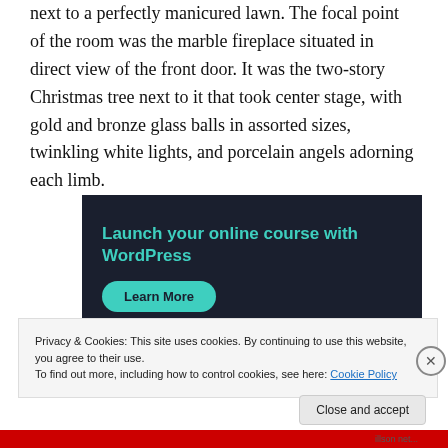next to a perfectly manicured lawn. The focal point of the room was the marble fireplace situated in direct view of the front door. It was the two-story Christmas tree next to it that took center stage, with gold and bronze glass balls in assorted sizes, twinkling white lights, and porcelain angels adorning each limb.
[Figure (screenshot): Advertisement banner with dark navy background showing 'Launch your online course with WordPress' in teal text and a 'Learn More' teal button]
Privacy & Cookies: This site uses cookies. By continuing to use this website, you agree to their use.
To find out more, including how to control cookies, see here: Cookie Policy
Close and accept